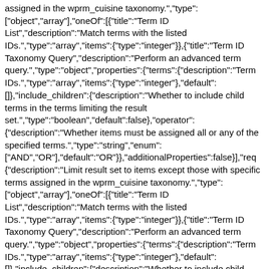assigned in the wprm_cuisine taxonomy.","type":["object","array"],"oneOf":[{"title":"Term ID List","description":"Match terms with the listed IDs.","type":"array","items":{"type":"integer"}},{"title":"Term ID Taxonomy Query","description":"Perform an advanced term query.","type":"object","properties":{"terms":{"description":"Term IDs.","type":"array","items":{"type":"integer"},"default":[]},"include_children":{"description":"Whether to include child terms in the terms limiting the result set.","type":"boolean","default":false},"operator":{"description":"Whether items must be assigned all or any of the specified terms.","type":"string","enum":["AND","OR"],"default":"OR"}},"additionalProperties":false}],"req {"description":"Limit result set to items except those with specific terms assigned in the wprm_cuisine taxonomy.","type":["object","array"],"oneOf":[{"title":"Term ID List","description":"Match terms with the listed IDs.","type":"array","items":{"type":"integer"}},{"title":"Term ID Taxonomy Query","description":"Perform an advanced term query.","type":"object","properties":{"terms":{"description":"Term IDs.","type":"array","items":{"type":"integer"},"default":[]},"include_children":{"description":"Whether to include child terms in the terms limiting the result set.","type":"boolean","default":false}},"additionalProperties":false} {"description":"Limit result set to items with specific terms assigned in the wprm_suitablefordiet taxonomy.","type":